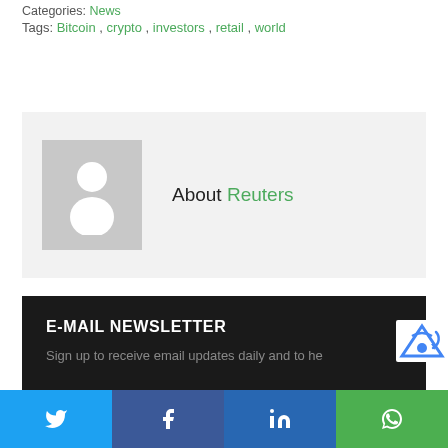Categories: News
Tags: Bitcoin , crypto , investors , retail , world
[Figure (other): Author avatar placeholder box with gray background and white silhouette person icon, next to 'About Reuters' heading]
About Reuters
E-MAIL NEWSLETTER
Sign up to receive email updates daily and to he
[Figure (other): reCAPTCHA badge in bottom right corner]
Twitter share button, Facebook share button, LinkedIn share button, WhatsApp share button